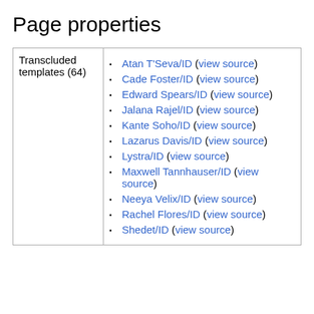Page properties
|  |  |
| --- | --- |
| Transcluded templates (64) | Atan T'Seva/ID (view source)
Cade Foster/ID (view source)
Edward Spears/ID (view source)
Jalana Rajel/ID (view source)
Kante Soho/ID (view source)
Lazarus Davis/ID (view source)
Lystra/ID (view source)
Maxwell Tannhauser/ID (view source)
Neeya Velix/ID (view source)
Rachel Flores/ID (view source)
Shedet/ID (view source) |